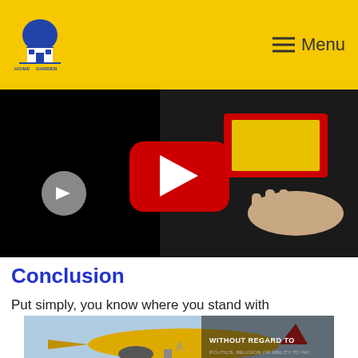Home and Garden — Menu
[Figure (screenshot): YouTube video thumbnail showing a hand resting on a car battery with a YouTube play button overlay]
Conclusion
Put simply, you know where you stand with
[Figure (photo): Advertisement banner showing an airplane being loaded with cargo, text reads WITHOUT REGARD TO POLITICS, RELIGION OR ABILITY TO PAY]